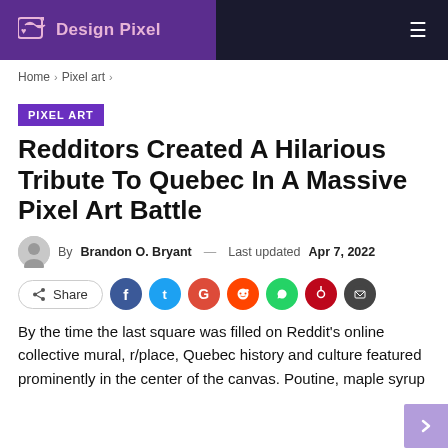Design Pixel
Home > Pixel art >
PIXEL ART
Redditors Created A Hilarious Tribute To Quebec In A Massive Pixel Art Battle
By Brandon O. Bryant — Last updated Apr 7, 2022
Share
By the time the last square was filled on Reddit's online collective mural, r/place, Quebec history and culture featured prominently in the center of the canvas. Poutine, maple syrup